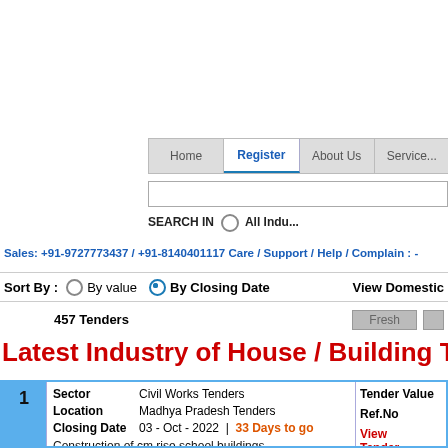[Figure (screenshot): Navigation bar with Home, Register (active), About Us, Services tabs]
SEARCH IN  All Indu...
Sales: +91-9727773437 / +91-8140401117 Care / Support / Help / Complain : -
Sort By :  By value  By Closing Date  View Domestic
457 Tenders  Fresh
Latest Industry of House / Building Tenders
| # | Sector | Location | Closing Date | Description | Tender Value | Ref.No | Action |
| --- | --- | --- | --- | --- | --- | --- | --- |
| 1 | Civil Works Tenders | Madhya Pradesh Tenders | 03 - Oct - 2022 | 33 Days to go | Construction of cm rise school buildings. |  |  | View Tender Details |